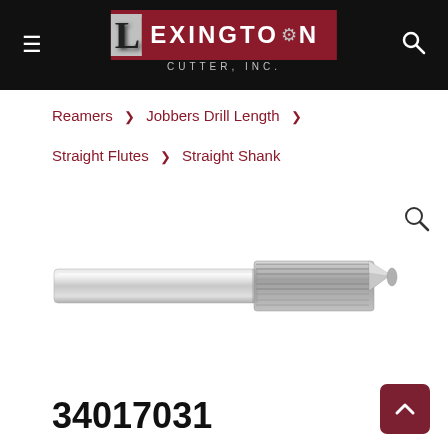Lexington Cutter, Inc.
Reamers > Jobbers Drill Length > Straight Flutes > Straight Shank
[Figure (photo): Metal straight shank reamer with straight flutes, shown diagonally on white background]
34017031